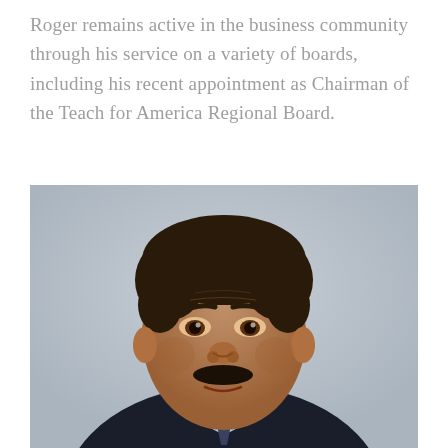Roger remains active in the business community through his service on a variety of boards, including his recent appointment as Chairman of the Teach for America Regional Board.
[Figure (photo): Professional headshot of a middle-aged man with dark hair and a dark mustache, wearing a dark suit and light blue shirt, photographed against a light grey background.]